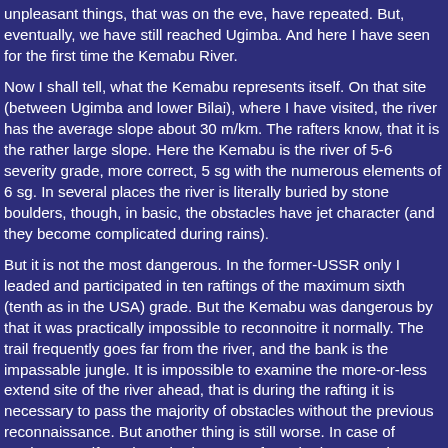unpleasant things, that was on the eve, have repeated. But, eventually, we have still reached Ugimba. And here I have seen for the first time the Kemabu River.
Now I shall tell, what the Kemabu represents itself. On that site (between Ugimba and lower Bilai), where I have visited, the river has the average slope about 30 m/km. The rafters know, that it is the rather large slope. Here the Kemabu is the river of 5-6 severity grade, more correct, 5 sg with the numerous elements of 6 sg. In several places the river is literally buried by stone boulders, though, in basic, the obstacles have jet character (and they become complicated during rains).
But it is not the most dangerous. In the former-USSR only I leaded and participated in ten raftings of the maximum sixth (tenth as in the USA) grade. But the Kemabu was dangerous by that it was practically impossible to reconnoitre it normally. The trail frequently goes far from the river, and the bank is the impassable jungle. It is impossible to examine the more-or-less extend site of the river ahead, that is during the rafting it is necessary to pass the majority of obstacles without the previous reconnaissance. But another thing is still worse. In case of turning over, if you have broken away from the boat, you lose practically everything - as the catamaran, as all things. Besides your life finds in danger: you see, it is extremely difficult to get out to the trail through the impassable...